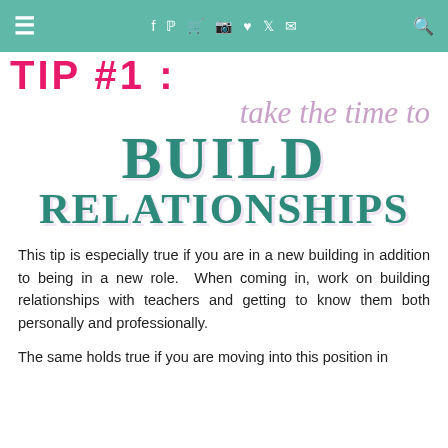☰  f  ♟  🛒  📷  ♥  🐦  ✉  🔍
TIP #1 : take the time to BUILD RELATIONSHIPS
This tip is especially true if you are in a new building in addition to being in a new role.  When coming in, work on building relationships with teachers and getting to know them both personally and professionally.
The same holds true if you are moving into this position in